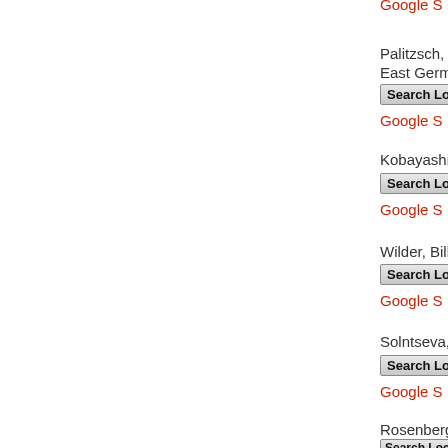Google S (top, cropped red link)
Palitzsch, Pete
East Germany:
Search Local (button)
Google S (red link)
Kobayashi, Ma
Search Local (button)
Google S (red link)
Wilder, Billy. O...
Search Local (button)
Google S (red link)
Solntseva, Yuli
Search Local (button)
Google S (red link)
Rosenberg, Stu
Search Local (button)
Google S (red link)